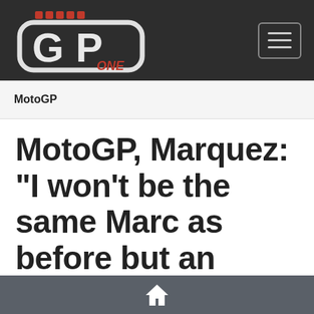GP ONE - MotoGP news website header with logo and hamburger menu
MotoGP
MotoGP, Marquez: "I won't be the same Marc as before but an evolution of him"
Home icon